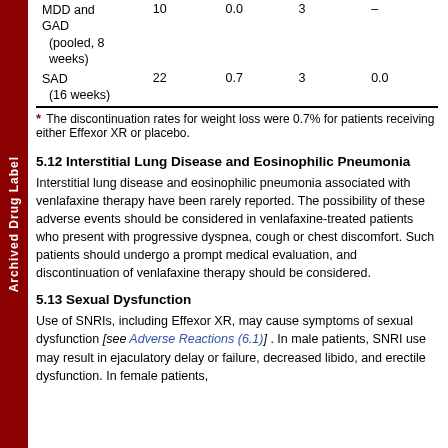| Indication | Effexor XR n | Effexor XR % | Placebo n | Placebo % |
| --- | --- | --- | --- | --- |
| MDD and GAD (pooled, 8 weeks) | 10 | 0.0 | 3 | – |
| SAD (16 weeks) | 22 | 0.7 | 3 | 0.0 |
* The discontinuation rates for weight loss were 0.7% for patients receiving either Effexor XR or placebo.
5.12 Interstitial Lung Disease and Eosinophilic Pneumonia
Interstitial lung disease and eosinophilic pneumonia associated with venlafaxine therapy have been rarely reported. The possibility of these adverse events should be considered in venlafaxine-treated patients who present with progressive dyspnea, cough or chest discomfort. Such patients should undergo a prompt medical evaluation, and discontinuation of venlafaxine therapy should be considered.
5.13 Sexual Dysfunction
Use of SNRIs, including Effexor XR, may cause symptoms of sexual dysfunction [see Adverse Reactions (6.1)] . In male patients, SNRI use may result in ejaculatory delay or failure, decreased libido, and erectile dysfunction. In female patients,